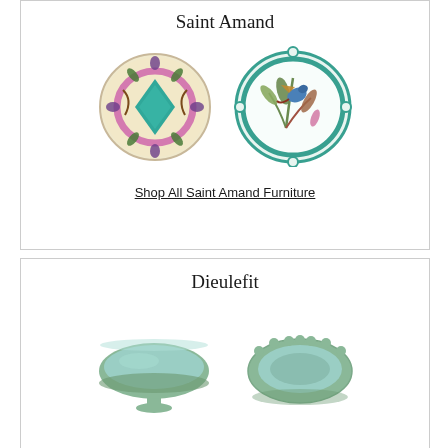Saint Amand
[Figure (photo): Two decorative ceramic plates from Saint Amand: left plate has a cream background with pink ring, teal diamond center, and floral/leaf motifs; right plate has a white scalloped edge with teal rim and a bird/botanical painting.]
Shop All Saint Amand Furniture
Dieulefit
[Figure (photo): Two pieces of Dieulefit celadon green pottery: left is a footed bowl/compote with wide shallow basin; right is a small oval scalloped plate/dish, both in muted sage green glaze.]